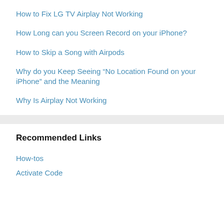How to Fix LG TV Airplay Not Working
How Long can you Screen Record on your iPhone?
How to Skip a Song with Airpods
Why do you Keep Seeing “No Location Found on your iPhone” and the Meaning
Why Is Airplay Not Working
Recommended Links
How-tos
Activate Code